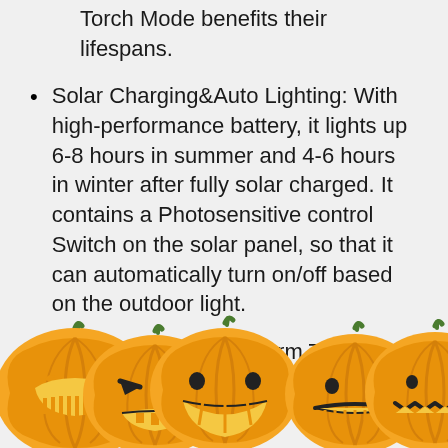Torch Mode benefits their lifespans.
Solar Charging&Auto Lighting: With high-performance battery, it lights up 6-8 hours in summer and 4-6 hours in winter after fully solar charged. It contains a Photosensitive control Switch on the solar panel, so that it can automatically turn on/off based on the outdoor light.
Customer Support&Warm Tips: KITSCO offers...Warm... (partially obscured)
[Figure (illustration): Five Halloween jack-o-lantern pumpkins with glowing faces across the bottom of the page, partially overlapping text]